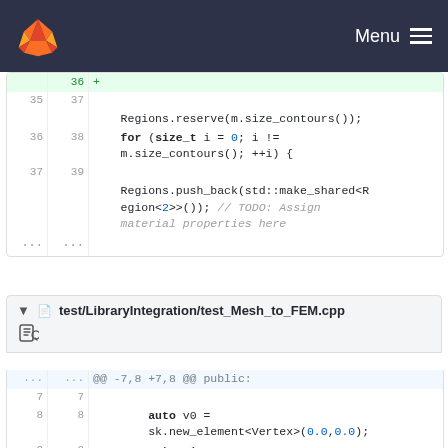GitLab navigation bar with logo and Menu
[Figure (screenshot): Code diff showing lines 35-39 of a C++ file with Regions.reserve and for loop code]
test/LibraryIntegration/test_Mesh_to_FEM.cpp
[Figure (screenshot): Code diff showing lines 7-9 of test_Mesh_to_FEM.cpp with auto v0, v1 assignments using sk.new_element<Vertex>]